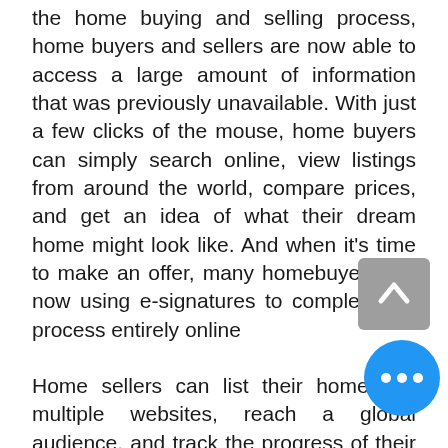the home buying and selling process, home buyers and sellers are now able to access a large amount of information that was previously unavailable. With just a few clicks of the mouse, home buyers can simply search online, view listings from around the world, compare prices, and get an idea of what their dream home might look like. And when it's time to make an offer, many homebuyers are now using e-signatures to complete the process entirely online
Home sellers can list their homes on multiple websites, reach a global audience, and track the progress of their listing in real-time. As a result, the buying and selling process has become more efficient and convenient for both